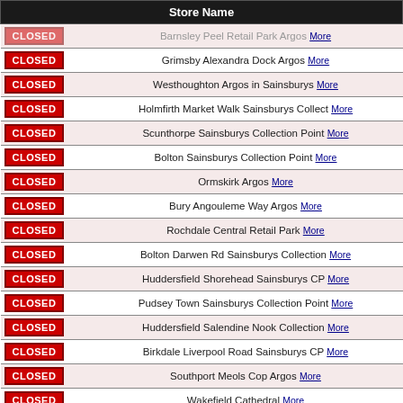|  | Store Name |
| --- | --- |
| CLOSED | Barnsley Peel Retail Park Argos More |
| CLOSED | Grimsby Alexandra Dock Argos More |
| CLOSED | Westhoughton Argos in Sainsburys More |
| CLOSED | Holmfirth Market Walk Sainsburys Collect More |
| CLOSED | Scunthorpe Sainsburys Collection Point More |
| CLOSED | Bolton Sainsburys Collection Point More |
| CLOSED | Ormskirk Argos More |
| CLOSED | Bury Angouleme Way Argos More |
| CLOSED | Rochdale Central Retail Park More |
| CLOSED | Bolton Darwen Rd Sainsburys Collection More |
| CLOSED | Huddersfield Shorehead Sainsburys CP More |
| CLOSED | Pudsey Town Sainsburys Collection Point More |
| CLOSED | Huddersfield Salendine Nook Collection More |
| CLOSED | Birkdale Liverpool Road Sainsburys CP More |
| CLOSED | Southport Meols Cop Argos More |
| CLOSED | Wakefield Cathedral More |
| CLOSED | Lupset Sainsburys Collect More |
| CLOSED | Wakefield Marsh Way Sainsburys Collect More |
| CLOSED | Pontefract Argos More |
| CLOSED | Dewsbury Argos in Sainsburys More |
| CLOSED | Goole Argos More |
| CLOSED | Huddersfield Road Sainsburys CP More |